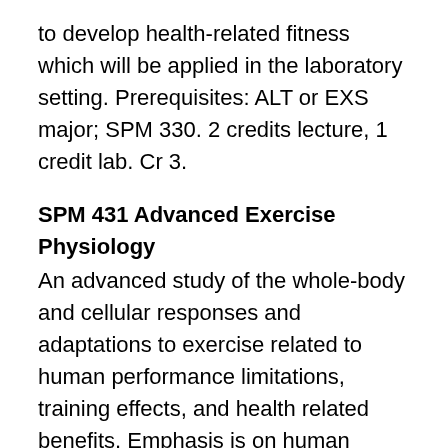to develop health-related fitness which will be applied in the laboratory setting. Prerequisites: ALT or EXS major; SPM 330. 2 credits lecture, 1 credit lab. Cr 3.
SPM 431 Advanced Exercise Physiology
An advanced study of the whole-body and cellular responses and adaptations to exercise related to human performance limitations, training effects, and health related benefits. Emphasis is on human bioenergetics, metabolism, cardiovascular structure and function, and cardiopulmonary responses to exercise. Prerequisites: ALT or EXS major; SPM 330. Cr 3.
SPM 440 Manual Therapy
This course will take a detailed approach into the principles, theories, and evidence concerning the